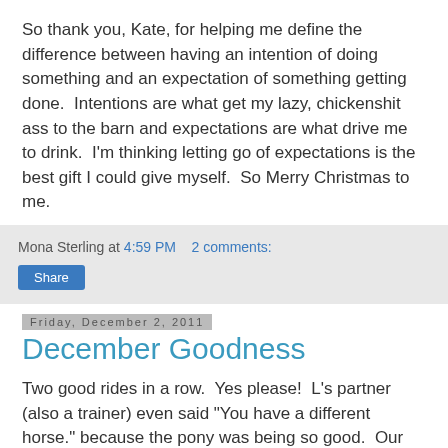So thank you, Kate, for helping me define the difference between having an intention of doing something and an expectation of something getting done.  Intentions are what get my lazy, chickenshit ass to the barn and expectations are what drive me to drink.  I'm thinking letting go of expectations is the best gift I could give myself.  So Merry Christmas to me.
Mona Sterling at 4:59 PM   2 comments:
Share
Friday, December 2, 2011
December Goodness
Two good rides in a row.  Yes please!  L's partner (also a trainer) even said "You have a different horse." because the pony was being so good.  Our ride was short but I wanted to end on a good note and not bore us silly.